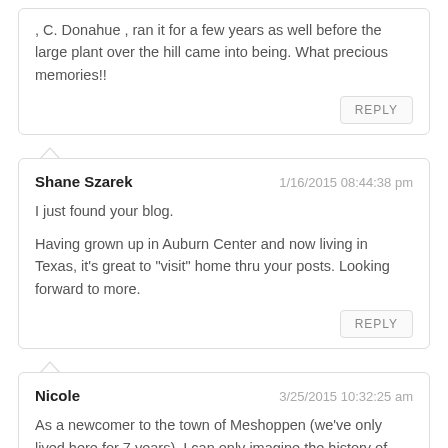, C. Donahue , ran it for a few years as well before the large plant over the hill came into being. What precious memories!!
REPLY
Shane Szarek
1/16/2015 08:44:38 pm
I just found your blog.
Having grown up in Auburn Center and now living in Texas, it's great to "visit" home thru your posts. Looking forward to more.
REPLY
Nicole
3/25/2015 10:32:25 am
As a newcomer to the town of Meshoppen (we've only lived here for 7 years), I can only imagine the history of this town. Thanks
REPLY
A